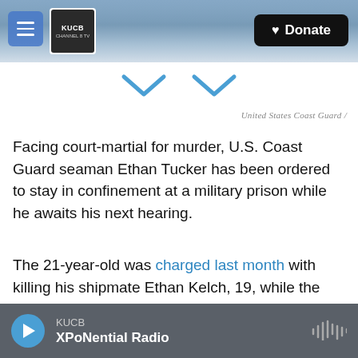KUCB Channel 8 TV | Donate
[Figure (screenshot): Website header with menu button, KUCB Channel 8 TV logo, snowy mountain background image, and black Donate button with heart icon]
United States Coast Guard /
Facing court-martial for murder, U.S. Coast Guard seaman Ethan Tucker has been ordered to stay in confinement at a military prison while he awaits his next hearing.
The 21-year-old was charged last month with killing his shipmate Ethan Kelch, 19, while the Coast Guard Cutter Douglas Munro was in Unalaska in January.
KUCB XPoNential Radio